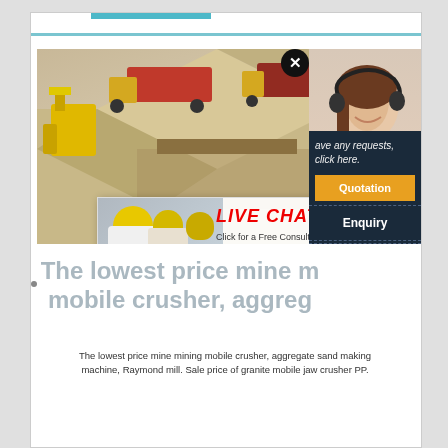[Figure (screenshot): Screenshot of a mining/quarrying website with a live chat popup overlay. The main image shows an isometric quarry scene with trucks and a loader. A live chat dialog appears with workers in hard hats, 'LIVE CHAT' heading in red, 'Click for a Free Consultation' text, 'Chat now' and 'Chat later' buttons. A customer service representative (woman with headset) appears on the right. A sidebar shows Quotation and Enquiry buttons and an email address limingjlmofen@sina.com.]
The lowest price mine mining mobile crusher, aggregate
The lowest price mine mining mobile crusher, aggregate sand making machine, Raymond mill. Sale price of granite mobile jaw crusher PP.